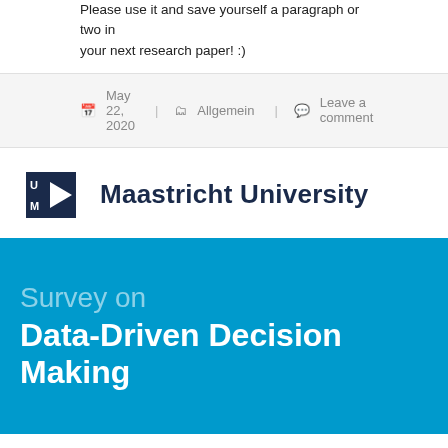Please use it and save yourself a paragraph or two in your next research paper! :)
May 22, 2020   Allgemein   Leave a comment
[Figure (logo): Maastricht University logo with triangular arrow mark and text 'Maastricht University']
[Figure (infographic): Blue banner with text 'Survey on Data-Driven Decision Making']
Causal Inference in Business